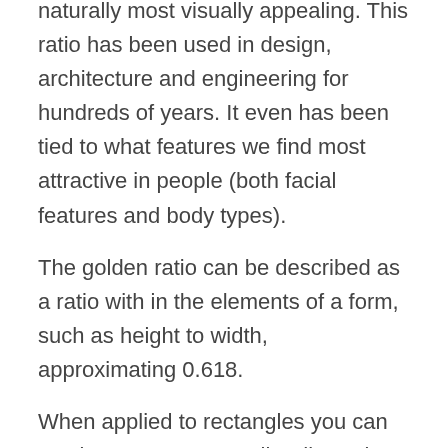naturally most visually appealing. This ratio has been used in design, architecture and engineering for hundreds of years. It even has been tied to what features we find most attractive in people (both facial features and body types).
The golden ratio can be described as a ratio with in the elements of a form, such as height to width, approximating 0.618.
When applied to rectangles you can continue to create smaller dissections of the shape using the .618 ratio, which creates a natural spiral pattern. This can be seen in nature by examining sea shells.
This ratio has been used through out history, in